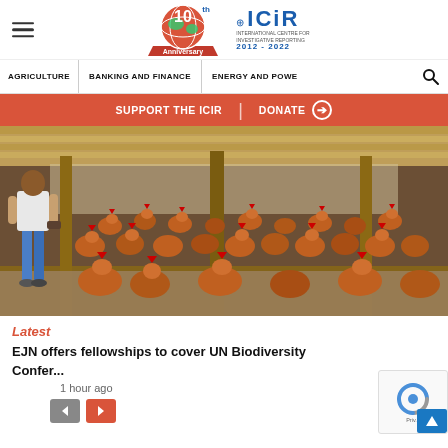ICIR — International Centre for Investigative Reporting. 10th Anniversary. 2012–2022.
AGRICULTURE   BANKING AND FINANCE   ENERGY AND POWE
SUPPORT THE ICIR  |  DONATE →
[Figure (photo): A man standing inside a large poultry farm filled with hundreds of brown chickens on a dirt floor, under a metal roof supported by wooden columns.]
Latest
EJN offers fellowships to cover UN Biodiversity Confer...
1 hour ago